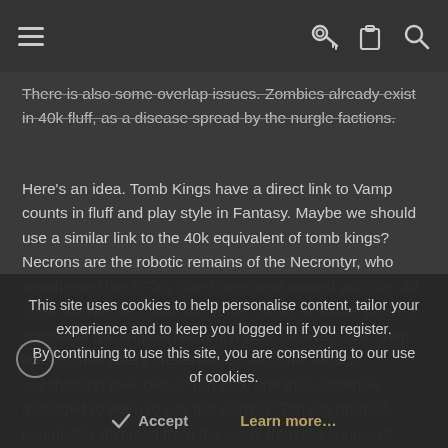Navigation bar with menu, key, clipboard, and search icons
There is also some overlap issues. Zombies already exist in 40k fluff, as a disease spread by the nurgle factions.
Here's an idea. Tomb Kings have a direct link to Vamp counts in fluff and play style in Fantasy. Maybe we should use a similar link to the 40k equivalent of tomb kings? Necrons are the robotic remains of the Necrontyr, who worshipped the C'Tan Star-Eaters and warred with the old ones. Maybe we could find some corner of space where a splinter of the original Necrontyr race survives, The short lives of their rulers preserved by vampyric rituals, worshipping their own C'Tan god, one that somehow managed to learn to use the warp? C'Tan are normally completely divorced from the warp, from the source of magic - it's anathema to them. But perhaps one sought to
This site uses cookies to help personalise content, tailor your experience and to keep you logged in if you register.
By continuing to use this site, you are consenting to our use of cookies.
Accept
Learn more...